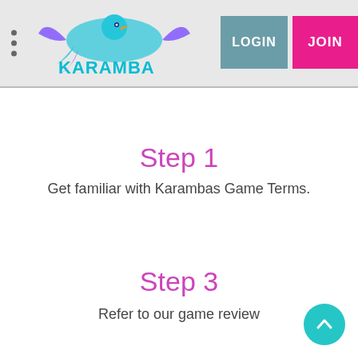Karamba — LOGIN | JOIN
Step 1
Get familiar with Karambas Game Terms.
Step 3
Refer to our game review